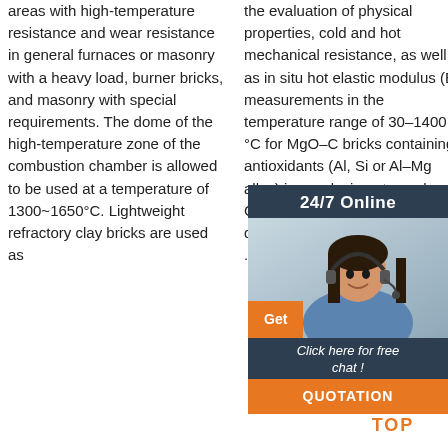areas with high-temperature resistance and wear resistance in general furnaces or masonry with a heavy load, burner bricks, and masonry with special requirements. The dome of the high-temperature zone of the combustion chamber is allowed to be used at a temperature of 1300~1650°C. Lightweight refractory clay bricks are used as
the evaluation of physical properties, cold and hot mechanical resistance, as well as in situ hot elastic modulus (E) measurements in the temperature range of 30–1400 °C for MgO–C bricks containing antioxidants (Al, Si or Al–Mg alloy) in a reducing atmosphere. Cured and fired samples of the designed formulations were ...
reference, currently used, MgO-C type and a more innovative 'carbonless' one containing magnesia sintered ...
[Figure (infographic): Advertisement overlay: 24/7 Online chat support with a photo of a woman wearing a headset, an orange Get button, 'Click here for free chat!' text in italic, and an orange QUOTATION button. Below: an orange TOP button with dotted triangle icon.]